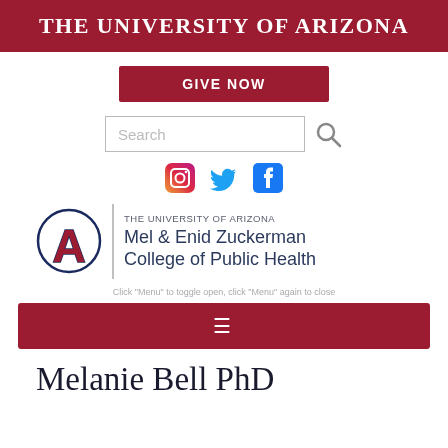The University of Arizona
[Figure (logo): Give Now button - dark red rectangular button with white bold uppercase text]
[Figure (screenshot): Search bar with magnifying glass icon]
[Figure (logo): Social media icons: Instagram, Twitter, Facebook]
[Figure (logo): University of Arizona logo with A letter mark and text: THE UNIVERSITY OF ARIZONA Mel & Enid Zuckerman College of Public Health]
Click "Menu" to toggle open, click "Menu" again to close
[Figure (infographic): Dark red navigation menu bar with hamburger menu icon]
Melanie Bell PhD